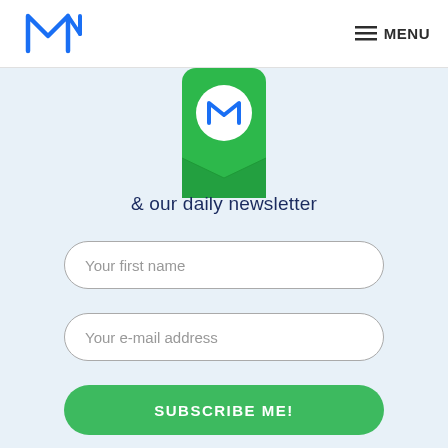M logo | MENU
[Figure (illustration): Smartphone with green background showing M logo and envelope icon, partially cropped at top]
& our daily newsletter
Your first name
Your e-mail address
SUBSCRIBE ME!